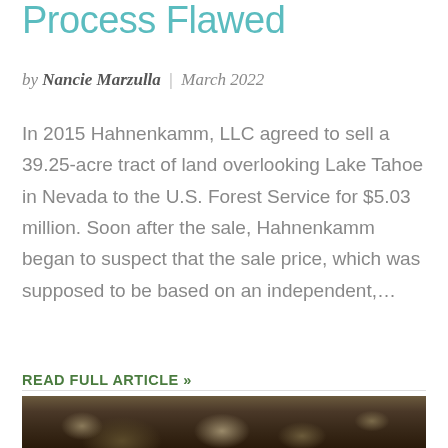Process Flawed
by Nancie Marzulla | March 2022
In 2015 Hahnenkamm, LLC agreed to sell a 39.25-acre tract of land overlooking Lake Tahoe in Nevada to the U.S. Forest Service for $5.03 million. Soon after the sale, Hahnenkamm began to suspect that the sale price, which was supposed to be based on an independent,...
READ FULL ARTICLE »
[Figure (photo): Partial photo strip at bottom of page showing natural/outdoor scene, appears to be rocks or ground cover]